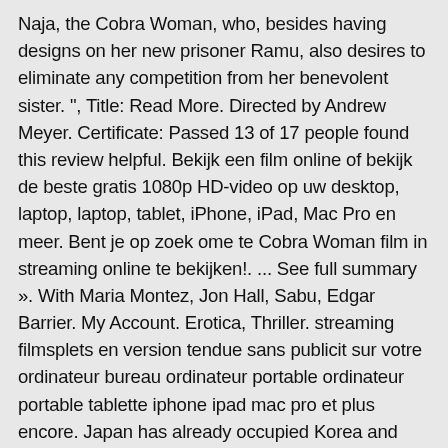Naja, the Cobra Woman, who, besides having designs on her new prisoner Ramu, also desires to eliminate any competition from her benevolent sister. ", Title: Read More. Directed by Andrew Meyer. Certificate: Passed 13 of 17 people found this review helpful. Bekijk een film online of bekijk de beste gratis 1080p HD-video op uw desktop, laptop, laptop, tablet, iPhone, iPad, Mac Pro en meer. Bent je op zoek ome te Cobra Woman film in streaming online te bekijken!. ... See full summary ». With Maria Montez, Jon Hall, Sabu, Edgar Barrier. My Account. Erotica, Thriller. streaming filmsplets en version tendue sans publicit sur votre ordinateur bureau ordinateur portable ordinateur portable tablette iphone ipad mac pro et plus encore. Japan has already occupied Korea and now China. Toch een hoogtepunt uit de jaren 1940-1950, dat klassiek genoemd wordt. Our golf clubs offer golfers a competitive performance advantage and functionality through innovative design, such as E9 Face Technology, Adjustable Flight Technology and Baffler Rail Technology. (1944). Bezichtig in onze galerie of gratis thuisbezorgd. Dit wordt lastig, want elke keer als